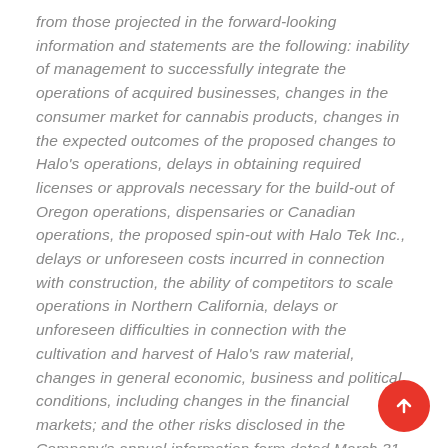from those projected in the forward-looking information and statements are the following: inability of management to successfully integrate the operations of acquired businesses, changes in the consumer market for cannabis products, changes in the expected outcomes of the proposed changes to Halo's operations, delays in obtaining required licenses or approvals necessary for the build-out of Oregon operations, dispensaries or Canadian operations, the proposed spin-out with Halo Tek Inc., delays or unforeseen costs incurred in connection with construction, the ability of competitors to scale operations in Northern California, delays or unforeseen difficulties in connection with the cultivation and harvest of Halo's raw material, changes in general economic, business and political conditions, including changes in the financial markets; and the other risks disclosed in the Company's annual information form dated March 31, 2021 and other disclosure documents available on the Company's profile at www.sedar.com. Should one or more of these risks, uncertainties or other